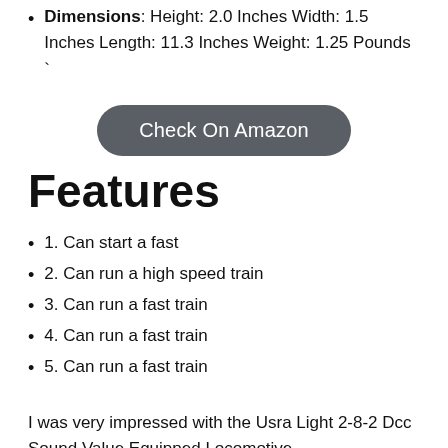Dimensions: Height: 2.0 Inches Width: 1.5 Inches Length: 11.3 Inches Weight: 1.25 Pounds `
[Figure (other): Button/link styled element reading 'Check On Amazon' with dark rounded rectangle background]
Features
1. Can start a fast
2. Can run a high speed train
3. Can run a fast train
4. Can run a fast train
5. Can run a fast train
I was very impressed with the Usra Light 2-8-2 Dcc Sound Value Equipped Locomotive –